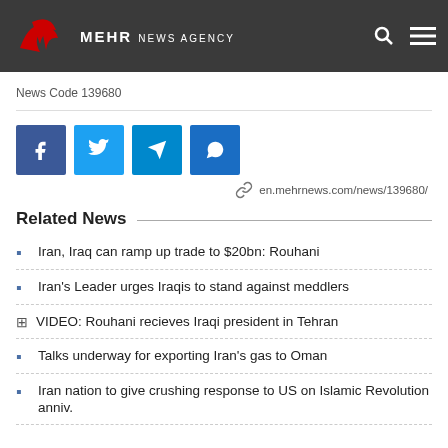MEHR NEWS AGENCY
News Code 139680
[Figure (other): Social share buttons: Facebook, Twitter, Telegram, WhatsApp, and a link to en.mehrnews.com/news/139680/]
Related News
Iran, Iraq can ramp up trade to $20bn: Rouhani
Iran's Leader urges Iraqis to stand against meddlers
VIDEO: Rouhani recieves Iraqi president in Tehran
Talks underway for exporting Iran's gas to Oman
Iran nation to give crushing response to US on Islamic Revolution anniv.